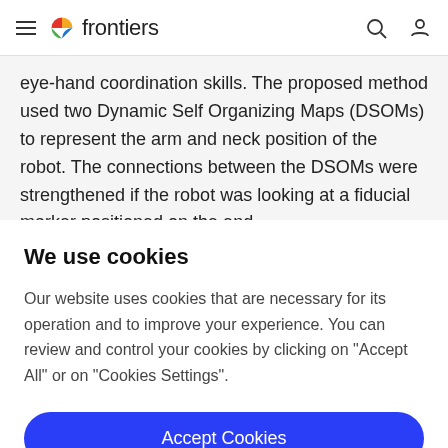frontiers
eye-hand coordination skills. The proposed method used two Dynamic Self Organizing Maps (DSOMs) to represent the arm and neck position of the robot. The connections between the DSOMs were strengthened if the robot was looking at a fiducial marker positioned on the end
We use cookies
Our website uses cookies that are necessary for its operation and to improve your experience. You can review and control your cookies by clicking on "Accept All" or on "Cookies Settings".
Accept Cookies
Cookies Settings